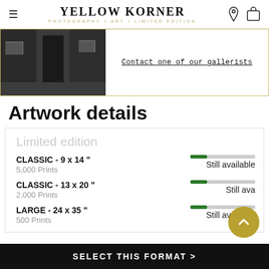YELLOW KORNER — PHOTOGRAPHY + ART + LIMITED EDITION
[Figure (photo): Interior of a YellowKorner art gallery showing framed photographs on dark walls]
Contact one of our gallerists
Artwork details
Limited edition
CLASSIC - 9 x 14 "
5,000 Prints
Still available
CLASSIC - 13 x 20 "
2,000 Prints
Still available
LARGE - 24 x 35 "
500 Prints
Still available
SELECT THIS FORMAT >